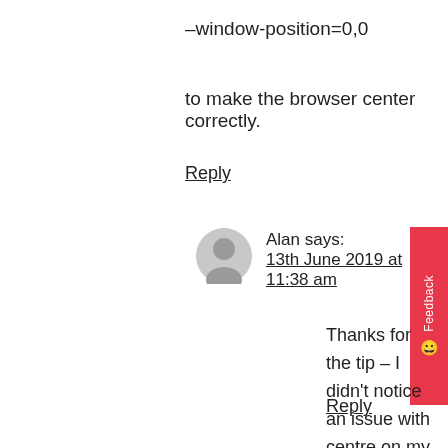–window-position=0,0
to make the browser center correctly.
Reply
Alan says:
13th June 2019 at 11:38 am
Thanks for the tip – I didn't notice an issue with centre on my implementation, I'll have to take a closer look as I didn't look too hard :).
Reply